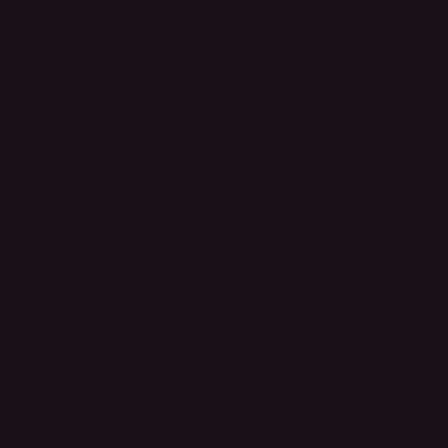on track.
What does your last text say?
- Fuck text messages. P for talking - and I don't e using them for that.
Who was the last person over the phone to?
- The IRS. Had to get so information for my taxes
What's your favorite sch - n/a now. My biology te amusing, though.
What's your least favori subject?
- Anything.
Would you rather have love?
- Love, easily.
What is your dream vac - N/A. I've gone so long without going on a vaca thought no longer cross
What is your favori